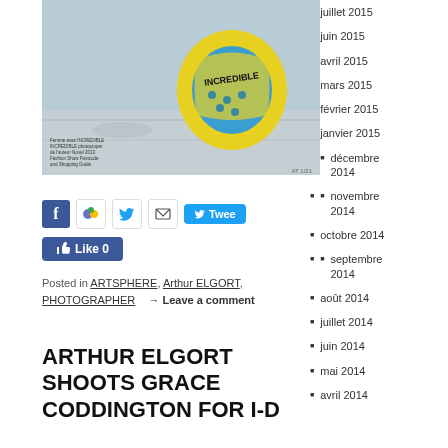[Figure (photo): A photo of a yellow and blue ball with 'INCREDIBLE' text on an outdoor court surface, with a small caption text at the bottom left]
Posted in ARTSPHERE, Arthur ELGORT, PHOTOGRAPHER → Leave a comment
ARTHUR ELGORT SHOOTS GRACE CODDINGTON FOR I-D
juillet 2015
juin 2015
avril 2015
mars 2015
février 2015
janvier 2015
décembre 2014
novembre 2014
octobre 2014
septembre 2014
août 2014
juillet 2014
juin 2014
mai 2014
avril 2014